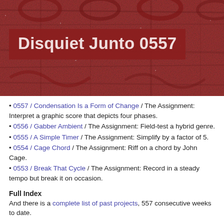[Figure (photo): Textured red/rust stone or fabric background with partially visible graffiti or pattern in dark red. A dark red banner overlaid with bold white text reading 'Disquiet Junto 0557'.]
Disquiet Junto 0557
0557 / Condensation Is a Form of Change / The Assignment: Interpret a graphic score that depicts four phases.
0556 / Gabber Ambient / The Assignment: Field-test a hybrid genre.
0555 / A Simple Timer / The Assignment: Simplify by a factor of 5.
0554 / Cage Chord / The Assignment: Riff on a chord by John Cage.
0553 / Break That Cycle / The Assignment: Record in a steady tempo but break it on occasion.
Full Index
And there is a complete list of past projects, 557 consecutive weeks to date.